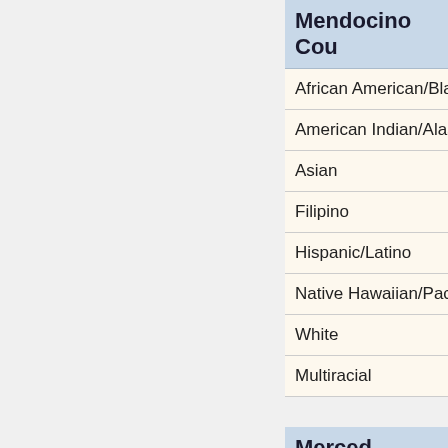Mendocino County
African American/Black
American Indian/Alaska Native
Asian
Filipino
Hispanic/Latino
Native Hawaiian/Pacific Islander
White
Multiracial
Merced County
African American/Black
American Indian/Alaska Native
Asian